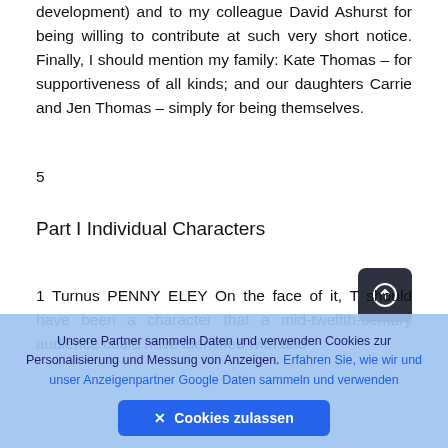development) and to my colleague David Ashurst for being willing to contribute at such very short notice. Finally, I should mention my family: Kate Thomas – for supportiveness of all kinds; and our daughters Carrie and Jen Thomas – simply for being themselves.
5
Part I Individual Characters
1 Turnus PENNY ELEY On the face of it, T should have been a character that a mid-twelfth-century audience could have identified with and
Unsere Partner sammeln Daten und verwenden Cookies zur Personalisierung und Messung von Anzeigen. Erfahren Sie, wie wir und unser Anzeigenpartner Google Daten sammeln und verwenden
✕ Cookies zulassen